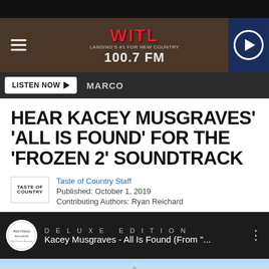[Figure (screenshot): WITL 100.7 FM radio station header banner with logo on wood-texture background, hamburger menu icon on left, play button on right]
LISTEN NOW ▶  MARCO
HEAR KACEY MUSGRAVES' 'ALL IS FOUND' FOR THE 'FROZEN 2' SOUNDTRACK
Taste of Country Staff
Published: October 1, 2019
Contributing Authors: Ryan Reichard
[Figure (screenshot): Walt Disney Records logo circle with media player showing 'DELUXE EDITION' and track: Kacey Musgraves - All Is Found (From "..."]
[Figure (illustration): Frozen 2 snowflake/crystal illustration at bottom]